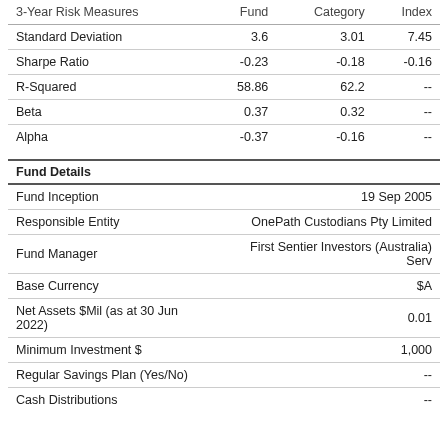| 3-Year Risk Measures | Fund | Category | Index |
| --- | --- | --- | --- |
| Standard Deviation | 3.6 | 3.01 | 7.45 |
| Sharpe Ratio | -0.23 | -0.18 | -0.16 |
| R-Squared | 58.86 | 62.2 | -- |
| Beta | 0.37 | 0.32 | -- |
| Alpha | -0.37 | -0.16 | -- |
| Fund Details |  |
| --- | --- |
| Fund Inception | 19 Sep 2005 |
| Responsible Entity | OnePath Custodians Pty Limited |
| Fund Manager | First Sentier Investors (Australia) Serv |
| Base Currency | $A |
| Net Assets $Mil (as at 30 Jun 2022) | 0.01 |
| Minimum Investment $ | 1,000 |
| Regular Savings Plan (Yes/No) | -- |
| Cash Distributions | -- |